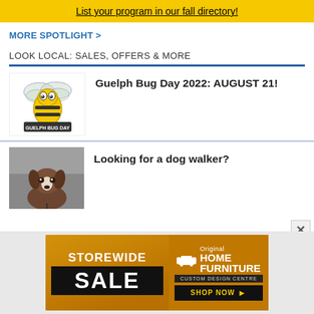List your program in our fall directory!
MORE SPOTLIGHT >
LOOK LOCAL: SALES, OFFERS & MORE
[Figure (logo): Guelph Bug Day logo: yellow cartoon bee with wings above banner text GUELPH BUG DAY]
Guelph Bug Day 2022: AUGUST 21!
[Figure (photo): Brown and white dog on a leash, looking at camera]
Looking for a dog walker?
[Figure (infographic): Storewide Sale advertisement for Original Home Furniture Custom Design Centre with Shop Now button]